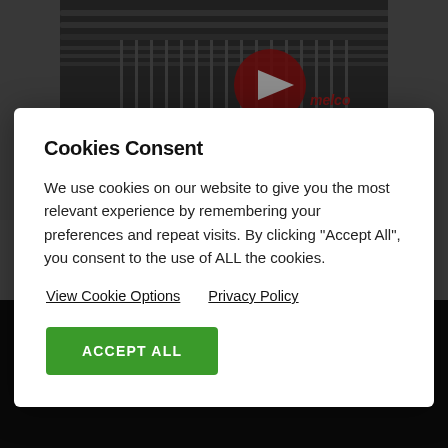[Figure (screenshot): Background showing a screenshot of a webpage with an embroidery machine (Melco EMT16X) YouTube video thumbnail at the top and a dark area at the bottom]
Cookies Consent
We use cookies on our website to give you the most relevant experience by remembering your preferences and repeat visits. By clicking “Accept All”, you consent to the use of ALL the cookies.
View Cookie Options   Privacy Policy
ACCEPT ALL